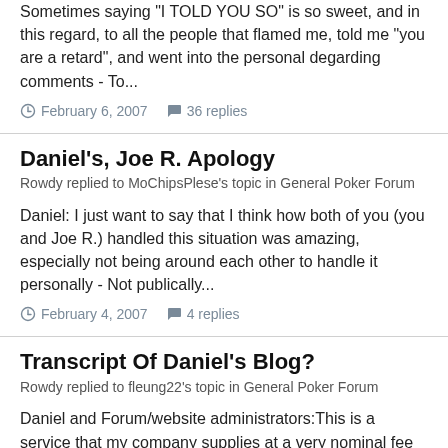Sometimes saying 'I TOLD YOU SO' is so sweet, and in this regard, to all the people that flamed me, told me "you are a retard", and went into the personal degarding comments - To...
February 6, 2007   36 replies
Daniel's, Joe R. Apology
Rowdy replied to MoChipsPlese's topic in General Poker Forum
Daniel: I just want to say that I think how both of you (you and Joe R.) handled this situation was amazing, especially not being around each other to handle it personally - Not publically...
February 4, 2007   4 replies
Transcript Of Daniel's Blog?
Rowdy replied to fleung22's topic in General Poker Forum
Daniel and Forum/website administrators:This is a service that my company supplies at a very nominal fee for several sites